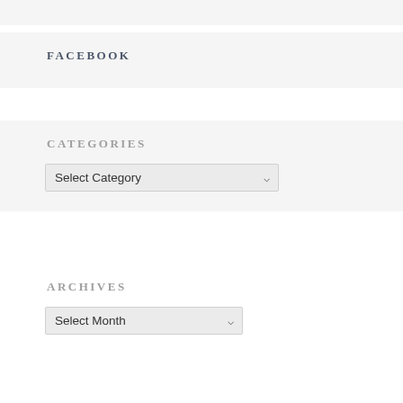FACEBOOK
CATEGORIES
Select Category
ARCHIVES
Select Month